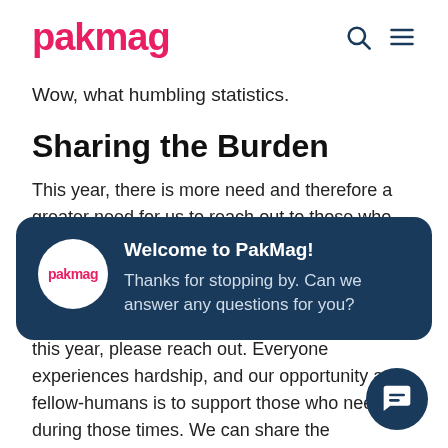pakmag
Wow, what humbling statistics.
Sharing the Burden
This year, there is more need and therefore a greater need for us to reach out to those who are having trouble accessing the basics to
[Figure (screenshot): Chat popup widget with PakMag logo avatar, title 'Welcome to PakMag!' and message 'Thanks for stopping by. Can we answer any questions for you?' on dark navy background with rounded corners]
Amy and chillingcare. If you need their help this year, please reach out. Everyone experiences hardship, and our opportunity as fellow-humans is to support those who need it during those times. We can share the